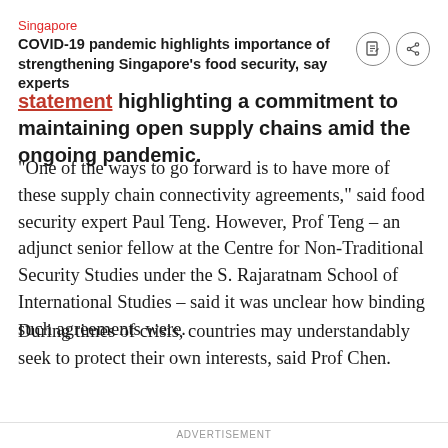Singapore
COVID-19 pandemic highlights importance of strengthening Singapore's food security, say experts
statement highlighting a commitment to maintaining open supply chains amid the ongoing pandemic.
“One of the ways to go forward is to have more of these supply chain connectivity agreements,” said food security expert Paul Teng. However, Prof Teng – an adjunct senior fellow at the Centre for Non-Traditional Security Studies under the S. Rajaratnam School of International Studies – said it was unclear how binding such agreements were.
During times of crisis, countries may understandably seek to protect their own interests, said Prof Chen.
ADVERTISEMENT